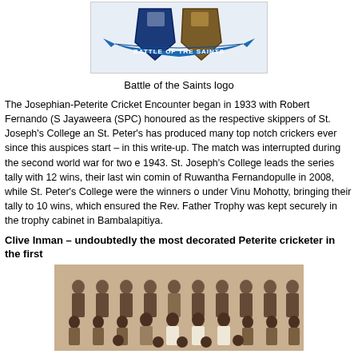[Figure (logo): Battle of the Saints logo — two school crests (blue shield and brown crest) joined with a blue ribbon banner reading 'BATTLE OF THE SAINTS']
Battle of the Saints logo
The Josephian-Peterite Cricket Encounter began in 1933 with Robert Fernando (S... Jayaweera (SPC) honoured as the respective skippers of St. Joseph's College and... St. Peter's has produced many top notch crickers ever since this auspices start – ... in this write-up. The match was interrupted during the second world war for two e... 1943. St. Joseph's College leads the series tally with 12 wins, their last win comin... of Ruwantha Fernandopulle in 2008, while St. Peter's College were the winners o... under Vinu Mohotty, bringing their tally to 10 wins, which ensured the Rev. Father... Trophy was kept securely in the trophy cabinet in Bambalapitiya.
Clive Inman – undoubtedly the most decorated Peterite cricketer in the first
[Figure (photo): Black and white group photograph of cricket team members in striped blazers, seated and standing in rows]